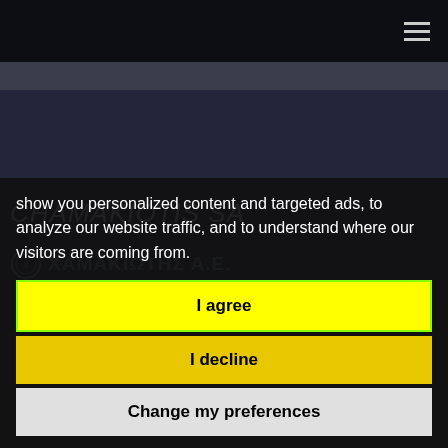[Figure (screenshot): Website header with dark navigation bar containing hamburger menu icon, gray sub-banner, and dark main content area showing company name CHAMAKIOTIS SA and partial Greek logo text ΧΑΜΑΚΙΩΤΗΣ Α.Ε.]
CHAMAKIOTIS SA
ΧΑΜΑΚΙΩΤΗΣ Α.Ε.
show you personalized content and targeted ads, to analyze our website traffic, and to understand where our visitors are coming from.
I agree
I decline
Change my preferences